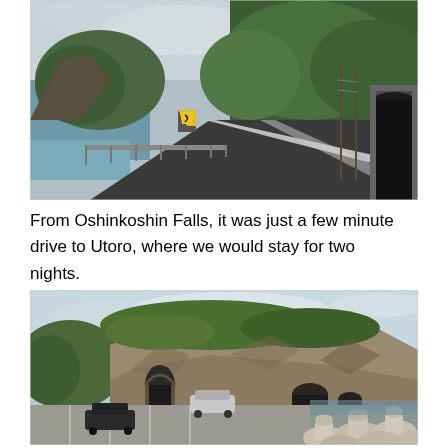[Figure (photo): A coastal road in Japan with metal guardrails on the left side, green forested hills and sea visible beyond, a yellow winding road warning sign, and a tunnel entrance on the right side of the road.]
From Oshinkoshin Falls, it was just a few minute drive to Utoro, where we would stay for two nights.
[Figure (photo): A large rocky cliff formation with green vegetation on top and tunnel entrances carved into the rock face. In the foreground is a parking area with a few cars, and concrete tetrapod wave breakers along the waterfront.]